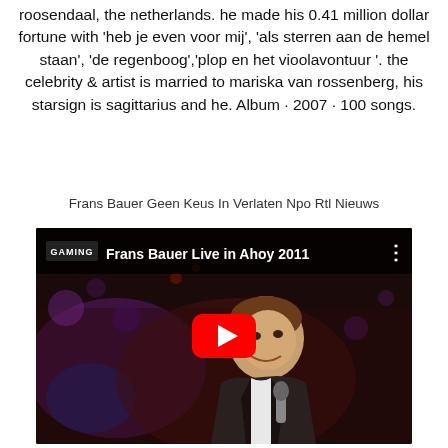roosendaal, the netherlands. he made his 0.41 million dollar fortune with 'heb je even voor mij', 'als sterren aan de hemel staan', 'de regenboog','plop en het vioolavontuur '. the celebrity & artist is married to mariska van rossenberg, his starsign is sagittarius and he. Album · 2007 · 100 songs.
Frans Bauer Geen Keus In Verlaten Npo Rtl Nieuws
[Figure (screenshot): YouTube video thumbnail showing Frans Bauer Live in Ahoy 2011 with GAMING channel label, a man in a dark suit singing with a microphone on a stage with purple lighting, and a red YouTube play button overlay.]